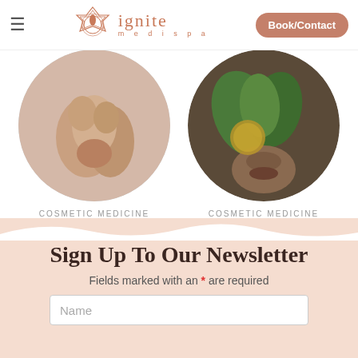ignite medispa — Book/Contact
[Figure (photo): Circular photo of hands clasped near face, cosmetic medicine card for Marionette Line Reduction]
COSMETIC MEDICINE
Marionette Line Reduction
[Figure (photo): Circular photo of woman's face partially obscured by tropical leaves, cosmetic medicine card for Dermal Fillers]
COSMETIC MEDICINE
Dermal Fillers
Sign Up To Our Newsletter
Fields marked with an * are required
Name